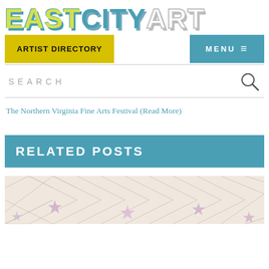[Figure (logo): EastCityArt logo with stylized block letters. EAST in yellow-green with teal shadow, CITY in teal, ART in white with gray shadow.]
ARTIST DIRECTORY
MENU ≡
SEARCH
The Northern Virginia Fine Arts Festival (Read More)
RELATED POSTS
[Figure (photo): Cropped photo showing a quilted or textured white fabric with pink/purple star shapes.]